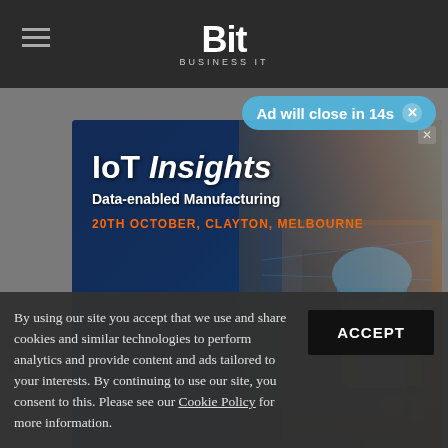Bit Business IT
Ad will close in 14s
[Figure (illustration): IoT Insights advertisement banner featuring a female worker in a hard hat and high-visibility vest against a dark industrial/digital background. Text reads: IoT Insights, Data-enabled Manufacturing, 20TH OCTOBER, CLAYTON, MELBOURNE]
So... th...
By using our site you accept that we use and share cookies and similar technologies to perform analytics and provide content and ads tailored to your interests. By continuing to use our site, you consent to this. Please see our Cookie Policy for more information.
ACCEPT